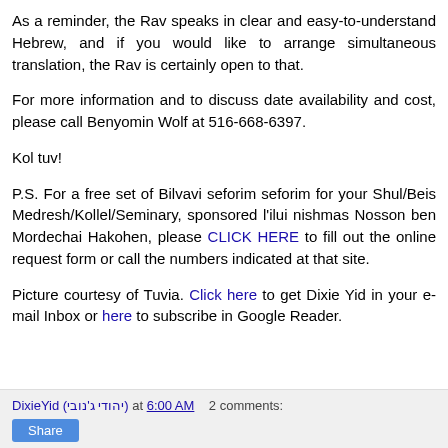As a reminder, the Rav speaks in clear and easy-to-understand Hebrew, and if you would like to arrange simultaneous translation, the Rav is certainly open to that.
For more information and to discuss date availability and cost, please call Benyomin Wolf at 516-668-6397.
Kol tuv!
P.S. For a free set of Bilvavi seforim seforim for your Shul/Beis Medresh/Kollel/Seminary, sponsored l'ilui nishmas Nosson ben Mordechai Hakohen, please CLICK HERE to fill out the online request form or call the numbers indicated at that site.
Picture courtesy of Tuvia. Click here to get Dixie Yid in your e-mail Inbox or here to subscribe in Google Reader.
DixieYid (יהודי ג'נובי) at 6:00 AM   2 comments: